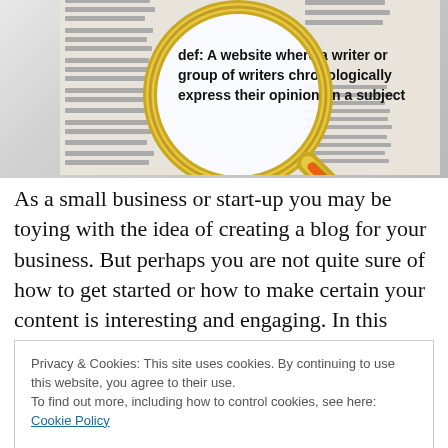[Figure (photo): A magnifying glass over a document page, showing the definition text: 'def: A website where a writer or group of writers chronologically express their opinion on a subject']
As a small business or start-up you may be toying with the idea of creating a blog for your business. But perhaps you are not quite sure of how to get started or how to make certain your content is interesting and engaging. In this
Privacy & Cookies: This site uses cookies. By continuing to use this website, you agree to their use. To find out more, including how to control cookies, see here: Cookie Policy
As we've discussed in previous posts, quality content is